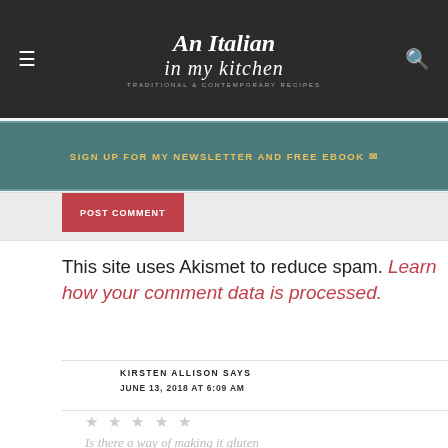An Italian in my kitchen
SIGN UP FOR MY NEWSLETTER AND FREE EBOOK ✉
POST COMMENT
This site uses Akismet to reduce spam. Learn how your comment data is processed.
KIRSTEN ALLISON SAYS
JUNE 13, 2018 AT 6:09 AM
★★★★★
Is there a way of making it gluten